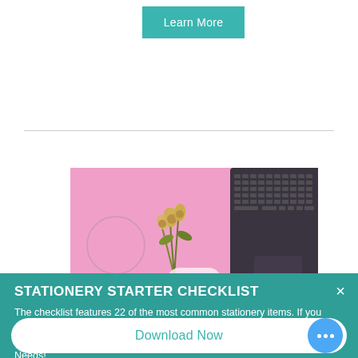Learn More
[Figure (photo): Flat lay photo on pink background showing yellow flowers, a laptop keyboard, a circular coaster, and a white object (mouse/trackpad)]
STATIONERY STARTER CHECKLIST
The checklist features 22 of the most common stationery items. If you didn't know there were so many options - download the checklist and get to work categorizing your stationery to: Must Haves, Wants, & Don't Needs!
Download Now